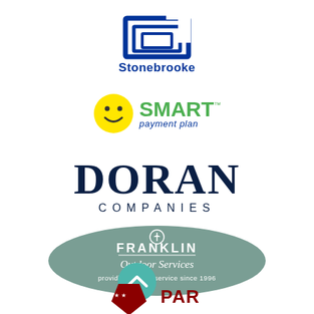[Figure (logo): Stonebrooke logo: blue layered/stacked rectangle icon above the word 'Stonebrooke' in dark blue]
[Figure (logo): SMART payment plan logo: yellow smiley face circle on left, green bold 'SMART' text with trademark symbol, blue 'payment plan' text below]
[Figure (logo): DORAN COMPANIES logo: large dark navy bold serif text 'DORAN' above spaced-out 'COMPANIES']
[Figure (logo): Franklin Outdoor Services logo: grey-green oval with white text 'FRANKLIN Outdoor Services providing quality service since 1996' and a small sailboat/anchor icon]
[Figure (logo): Teal/green circle with upward chevron arrow symbol (navigation/scroll icon)]
[Figure (logo): Partially visible logo at bottom: red/maroon pentagon shield with stars, beginning of text 'PATRIOT' or similar]